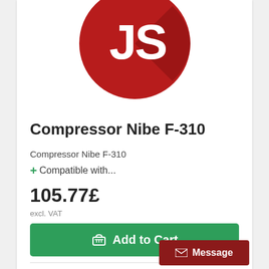[Figure (logo): JS logo — red circle with white 'JS' letters and shadow detail]
Compressor Nibe F-310
Compressor Nibe F-310
+ Compatible with...
105.77£
excl. VAT
Add to Cart
Message